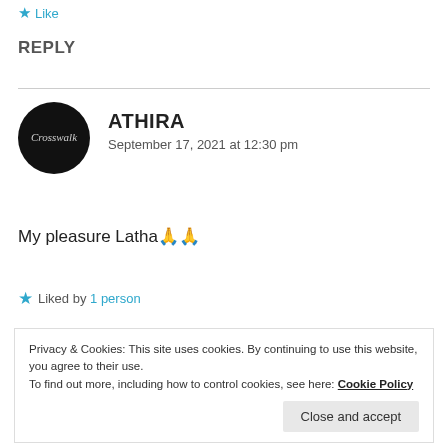★ Like
REPLY
ATHIRA
September 17, 2021 at 12:30 pm
My pleasure Latha🙏🙏
★ Liked by 1 person
Privacy & Cookies: This site uses cookies. By continuing to use this website, you agree to their use.
To find out more, including how to control cookies, see here: Cookie Policy
Close and accept